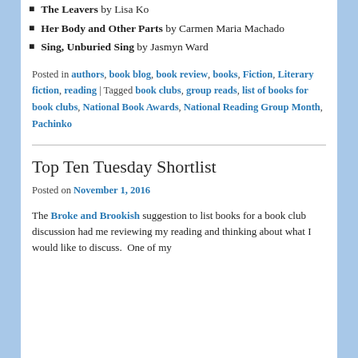The Leavers by Lisa Ko
Her Body and Other Parts by Carmen Maria Machado
Sing, Unburied Sing by Jasmyn Ward
Posted in authors, book blog, book review, books, Fiction, Literary fiction, reading | Tagged book clubs, group reads, list of books for book clubs, National Book Awards, National Reading Group Month, Pachinko
Top Ten Tuesday Shortlist
Posted on November 1, 2016
The Broke and Brookish suggestion to list books for a book club discussion had me reviewing my reading and thinking about what I would like to discuss. One of my